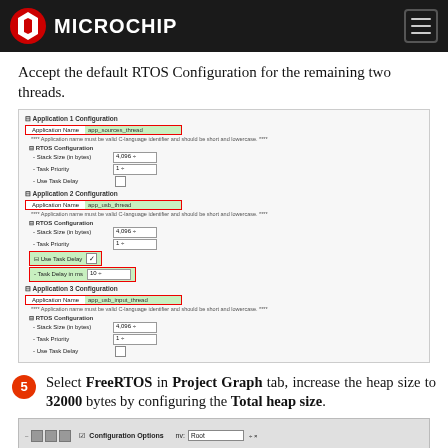Microchip
Accept the default RTOS Configuration for the remaining two threads.
[Figure (screenshot): Screenshot of Application 1, Application 2, and Application 3 Configuration dialogs showing Application Name fields (app_sources_thread, app_usb_thread, app_usb_input_thread) highlighted in red, and RTOS Configuration settings including Stack Size, Task Priority, Use Task Delay. Application 2 shows Use Task Delay checked and Task Delay in ms = 10, highlighted in red/green.]
5 Select FreeRTOS in Project Graph tab, increase the heap size to 32000 bytes by configuring the Total heap size.
[Figure (screenshot): Bottom portion of Configuration Options dialog showing a Root dropdown field.]